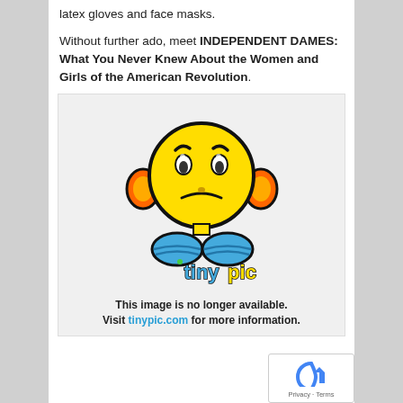latex gloves and face masks.
Without further ado, meet INDEPENDENT DAMES: What You Never Knew About the Women and Girls of the American Revolution.
[Figure (illustration): Tinypic placeholder image showing a sad yellow emoji character with orange ear-muffs and blue boots, with the tinypic logo and text 'This image is no longer available. Visit tinypic.com for more information.']